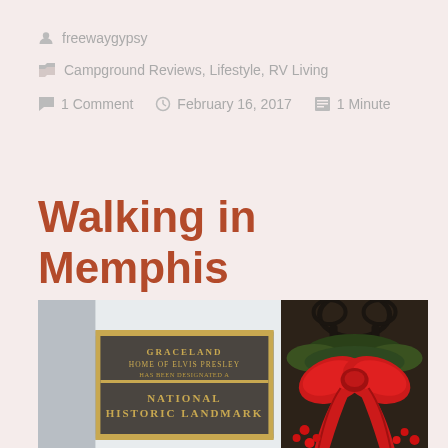freewaygypsy
Campground Reviews, Lifestyle, RV Living
1 Comment   February 16, 2017   1 Minute
Walking in Memphis
[Figure (photo): Two photos side by side: left shows a bronze plaque reading 'GRACELAND HOME OF ELVIS PRESLEY HAS BEEN DESIGNATED A NATIONAL HISTORIC LANDMARK'; right shows a large red ribbon/bow with evergreen branches and berries on a dark iron gate.]